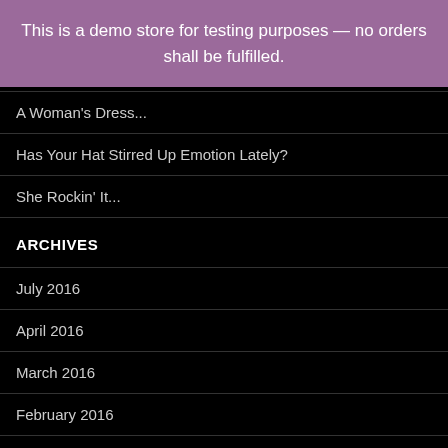This is a demo store for testing purposes — no orders shall be fulfilled.
A Woman's Dress...
Has Your Hat Stirred Up Emotion Lately?
She Rockin' It...
ARCHIVES
July 2016
April 2016
March 2016
February 2016